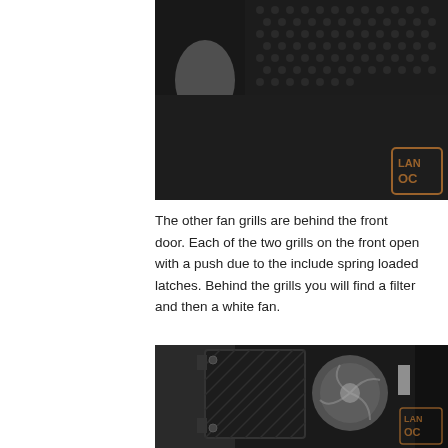[Figure (photo): Close-up photo of a dark computer case panel with hexagonal mesh ventilation holes and a LanOC logo watermark in the lower right corner.]
The other fan grills are behind the front door. Each of the two grills on the front open with a push due to the include spring loaded latches. Behind the grills you will find a filter and then a white fan.
[Figure (photo): Photo showing an open fan grill panel on the front of a computer case, revealing a white fan behind a filter. The grill is hinged open revealing the interior fan and case structure. LanOC logo watermark in lower right.]